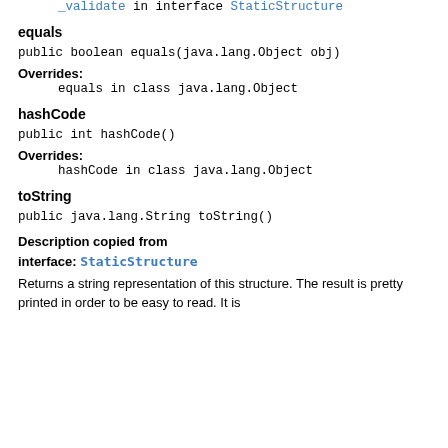_validate in interface StaticStructure
equals
public boolean equals(java.lang.Object obj)
Overrides:
    equals in class java.lang.Object
hashCode
public int hashCode()
Overrides:
    hashCode in class java.lang.Object
toString
public java.lang.String toString()
Description copied from
interface: StaticStructure
Returns a string representation of this structure. The result is pretty printed in order to be easy to read. It is